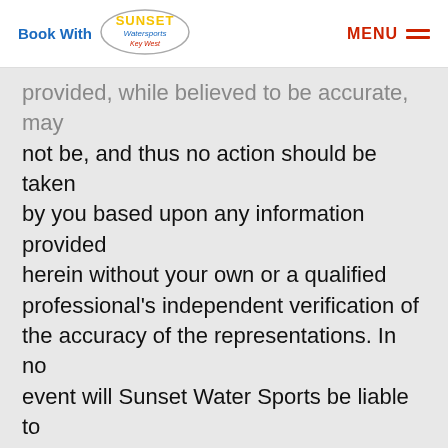Book With Sunset Watersports Key West | MENU
provided, while believed to be accurate, may not be, and thus no action should be taken by you based upon any information provided herein without your own or a qualified professional's independent verification of the accuracy of the representations. In no event will Sunset Water Sports be liable to you or any other third party for any direct, indirect, special or other consequential damages for any use of this Site, or on any site hyperlinked from this website, including, without limitation, any lost profits, business interruption, loss of programs or other data on your information handling system or otherwise, even if we are expressly advised of the possibility of such damages. In no